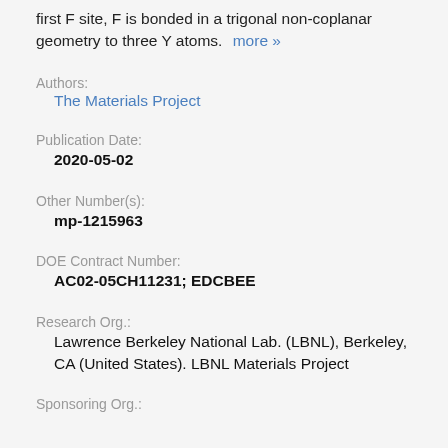first F site, F is bonded in a trigonal non-coplanar geometry to three Y atoms. more »
Authors:
The Materials Project
Publication Date:
2020-05-02
Other Number(s):
mp-1215963
DOE Contract Number:
AC02-05CH11231; EDCBEE
Research Org.:
Lawrence Berkeley National Lab. (LBNL), Berkeley, CA (United States). LBNL Materials Project
Sponsoring Org.: